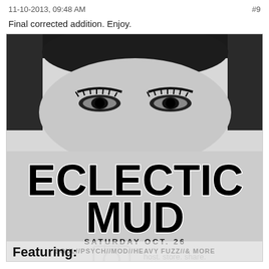11-10-2013, 09:48 AM    #9
Final corrected addition. Enjoy.
[Figure (illustration): Event flyer for 'Eclectic Mud' - black and white image showing a woman's eyes with dark hair/bangs at top, large bold text reading 'ECLECTIC MUD', subtext 'SATURDAY OCT. 26', 'SOUL//PSYCH//MOD//HEAVY FUZZ//& MORE', watermark 'host. store. share.', and bottom section showing 'Featuring:' text partially cut off]
Featuring: